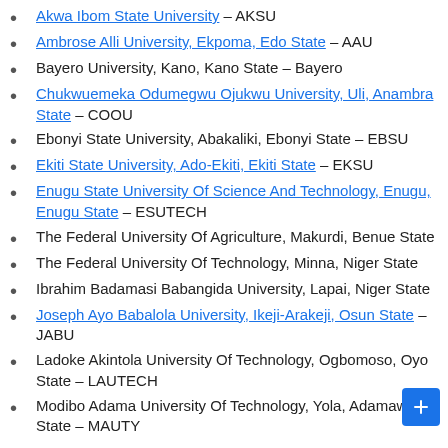Akwa Ibom State University – AKSU
Ambrose Alli University, Ekpoma, Edo State – AAU
Bayero University, Kano, Kano State – Bayero
Chukwuemeka Odumegwu Ojukwu University, Uli, Anambra State – COOU
Ebonyi State University, Abakaliki, Ebonyi State – EBSU
Ekiti State University, Ado-Ekiti, Ekiti State – EKSU
Enugu State University Of Science And Technology, Enugu, Enugu State – ESUTECH
The Federal University Of Agriculture, Makurdi, Benue State
The Federal University Of Technology, Minna, Niger State
Ibrahim Badamasi Babangida University, Lapai, Niger State
Joseph Ayo Babalola University, Ikeji-Arakeji, Osun State – JABU
Ladoke Akintola University Of Technology, Ogbomoso, Oyo State – LAUTECH
Modibo Adama University Of Technology, Yola, Adamawa State – MAUTY